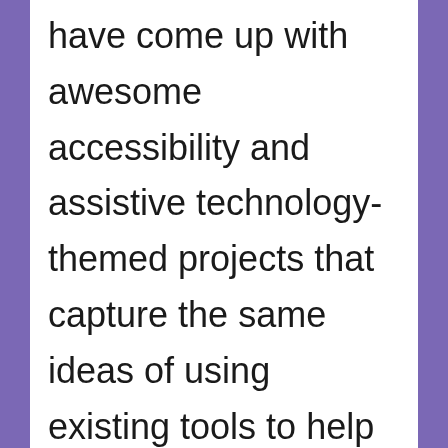have come up with awesome accessibility and assistive technology-themed projects that capture the same ideas of using existing tools to help others with disabilities. A lot of fantastic assistive technology tools were invented by people who were looking to solve a